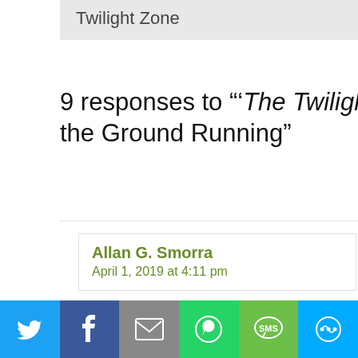Twilight Zone
9 responses to "'The Twilight Zone' Hits the Ground Running"
Allan G. Smorra
April 1, 2019 at 4:11 pm
This brings back
[Figure (infographic): Social share bar with Twitter, Facebook, Email, WhatsApp, SMS, and share icons on colored backgrounds]